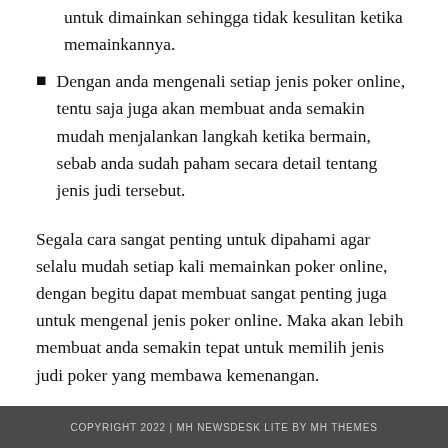untuk dimainkan sehingga tidak kesulitan ketika memainkannya.
Dengan anda mengenali setiap jenis poker online, tentu saja juga akan membuat anda semakin mudah menjalankan langkah ketika bermain, sebab anda sudah paham secara detail tentang jenis judi tersebut.
Segala cara sangat penting untuk dipahami agar selalu mudah setiap kali memainkan poker online, dengan begitu dapat membuat sangat penting juga untuk mengenal jenis poker online. Maka akan lebih membuat anda semakin tepat untuk memilih jenis judi poker yang membawa kemenangan.
COPYRIGHT 2022 | MH NEWSDESK LITE BY MH THEMES